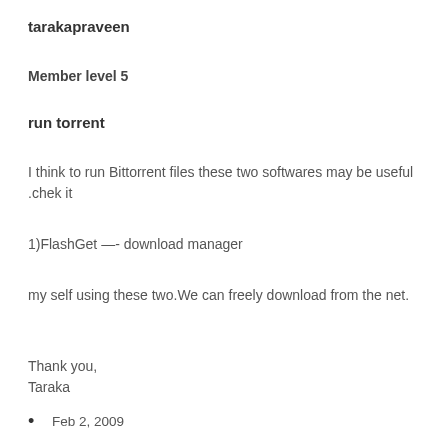tarakapraveen
Member level 5
run torrent
I think to run Bittorrent files these two softwares may be useful .chek it
1)FlashGet —- download manager
my self using these two.We can freely download from the net.
Thank you,
Taraka
Feb 2, 2009